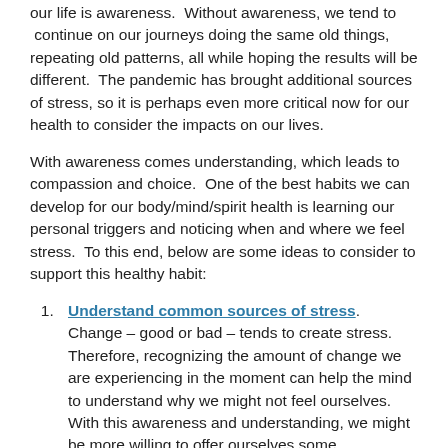our life is awareness.  Without awareness, we tend to  continue on our journeys doing the same old things, repeating old patterns, all while hoping the results will be different.  The pandemic has brought additional sources of stress, so it is perhaps even more critical now for our health to consider the impacts on our lives.
With awareness comes understanding, which leads to compassion and choice.  One of the best habits we can develop for our body/mind/spirit health is learning our personal triggers and noticing when and where we feel stress.  To this end, below are some ideas to consider to support this healthy habit:
Understand common sources of stress.  Change – good or bad – tends to create stress.  Therefore, recognizing the amount of change we are experiencing in the moment can help the mind to understand why we might not feel ourselves.  With this awareness and understanding, we might be more willing to offer ourselves some compassion, letting that compassion support our next choice.  We all might recognize that the loss of a partner or other loved one as being stressful, yet we might not be as aware that marriage, pregnancy, retirement from work, quitting smoking